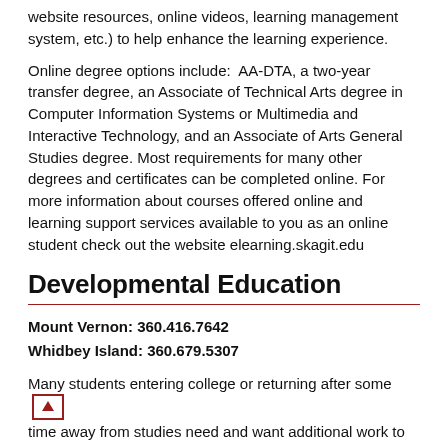website resources, online videos, learning management system, etc.) to help enhance the learning experience.
Online degree options include:  AA-DTA, a two-year transfer degree, an Associate of Technical Arts degree in Computer Information Systems or Multimedia and Interactive Technology, and an Associate of Arts General Studies degree. Most requirements for many other degrees and certificates can be completed online. For more information about courses offered online and learning support services available to you as an online student check out the website elearning.skagit.edu
Developmental Education
Mount Vernon: 360.416.7642
Whidbey Island: 360.679.5307
Many students entering college or returning after some time away from studies need and want additional work to